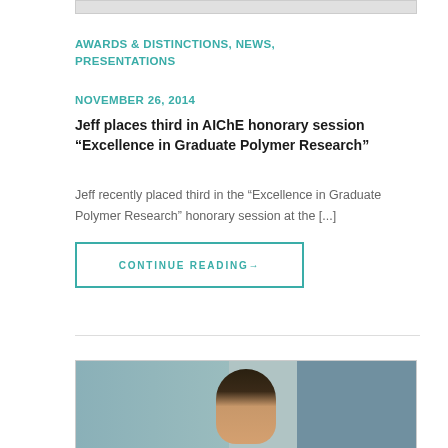[Figure (photo): Top image bar — partial image cropped at top of page]
AWARDS & DISTINCTIONS, NEWS, PRESENTATIONS
NOVEMBER 26, 2014
Jeff places third in AIChE honorary session “Excellence in Graduate Polymer Research”
Jeff recently placed third in the “Excellence in Graduate Polymer Research” honorary session at the [...]
CONTINUE READING→
[Figure (photo): Portrait photo of a man standing outside a brick building with windows visible in background]